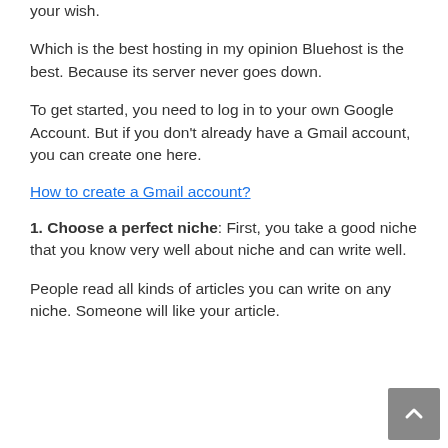your wish.
Which is the best hosting in my opinion Bluehost is the best. Because its server never goes down.
To get started, you need to log in to your own Google Account. But if you don't already have a Gmail account, you can create one here.
How to create a Gmail account?
1. Choose a perfect niche: First, you take a good niche that you know very well about niche and can write well.
People read all kinds of articles you can write on any niche. Someone will like your article.